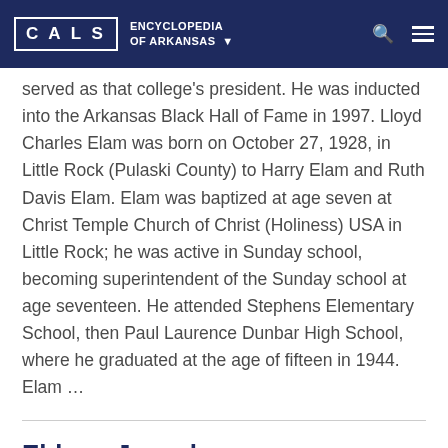CALS ENCYCLOPEDIA OF ARKANSAS
served as that college's president. He was inducted into the Arkansas Black Hall of Fame in 1997. Lloyd Charles Elam was born on October 27, 1928, in Little Rock (Pulaski County) to Harry Elam and Ruth Davis Elam. Elam was baptized at age seven at Christ Temple Church of Christ (Holiness) USA in Little Rock; he was active in Sunday school, becoming superintendent of the Sunday school at age seventeen. He attended Stephens Elementary School, then Paul Laurence Dunbar High School, where he graduated at the age of fifteen in 1944. Elam …
Elders, Joycelyn
AKA: Minnie Lee Jones